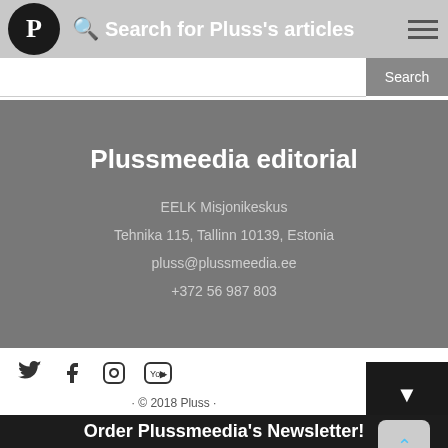Search for Pluss's articles
Plussmeedia editorial
EELK Misjonikeskus
Tehnika 115, Tallinn 10139, Estonia
pluss@plussmeedia.ee
+372 56 987 803
[Figure (other): Social media icons: Twitter, Facebook, Instagram, YouTube]
· © 2018 Pluss ·
Order Plussmeedia's Newsletter!
Your e-mail...
Order!